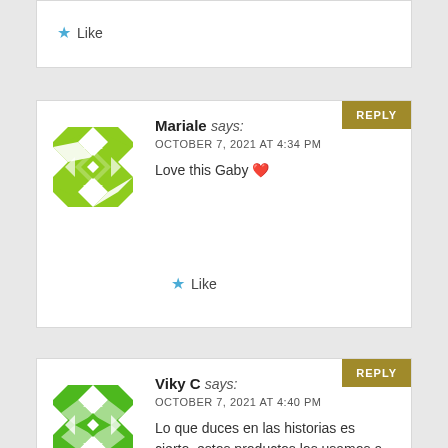Like
Mariale says: OCTOBER 7, 2021 AT 4:34 PM
Love this Gaby ❤
Like
Viky C says: OCTOBER 7, 2021 AT 4:40 PM
Lo que duces en las historias es cierto, estos productos los usamos a diario y muchos jos recuerdan la infancia
Like